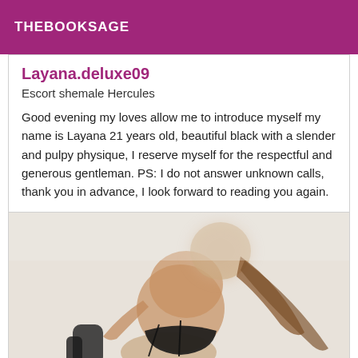THEBOOKSAGE
Layana.deluxe09
Escort shemale Hercules
Good evening my loves allow me to introduce myself my name is Layana 21 years old, beautiful black with a slender and pulpy physique, I reserve myself for the respectful and generous gentleman. PS: I do not answer unknown calls, thank you in advance, I look forward to reading you again.
[Figure (photo): Blurred photo of a person posing from behind wearing dark lingerie, with long hair, light background]